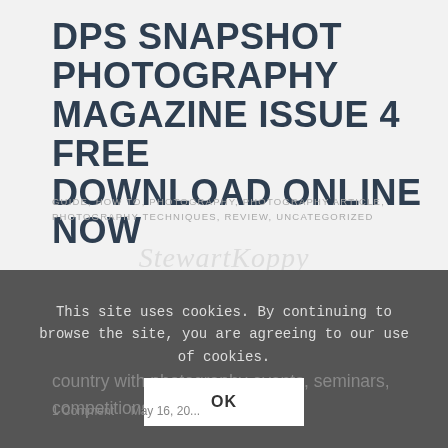DPS SNAPSHOT PHOTOGRAPHY MAGAZINE ISSUE 4 FREE DOWNLOAD ONLINE NOW
GUIDE, HOW TO, PHOTOGRAPHY, PHOTOGRAPHY ARTICLE, PHOTOGRAPHY TECHNIQUES, REVIEW, UNCATEGORIZED
Snapshot is a FREE online downloadable magazine produced by the staff and trainers at the Dublin Photography School. In each issue we will bring you guest articles from photographers around the country, we will let you know what's going on in Dublin and around the country with photography events, seminars, competitions,
This site uses cookies. By continuing to browse the site, you are agreeing to our use of cookies.
OK
1 Comment    May 16, 20...